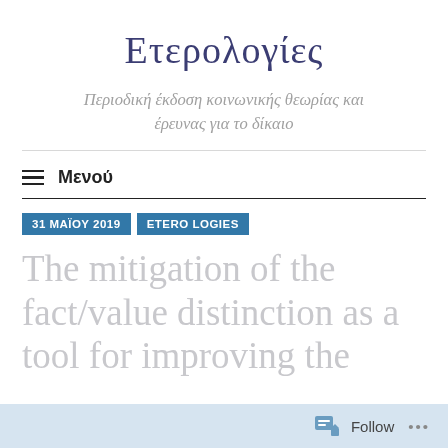Ετερολογίες
Περιοδική έκδοση κοινωνικής θεωρίας και έρευνας για το δίκαιο
≡ Μενού
31 ΜΑΪΟΥ 2019
ETERO LOGIES
The mitigation of the fact/value distinction as a tool for improving the
Follow ...